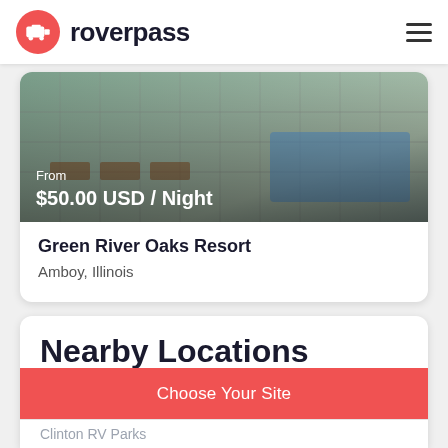roverpass
[Figure (photo): Outdoor resort photo showing a pool area with chain-link fence, lounge chairs, and trees. Overlay text reads: From $50.00 USD / Night]
Green River Oaks Resort
Amboy, Illinois
Nearby Locations
Amboy RV Parks
Choose Your Site
Clinton RV Parks